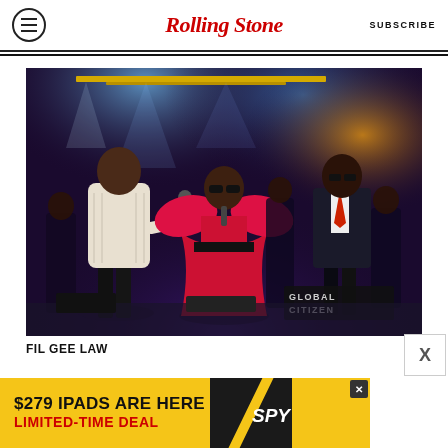Rolling Stone — SUBSCRIBE
[Figure (photo): Three performers on a concert stage. Left: man in white patterned sweater holding microphone. Center: woman in large red ruffled dress with sunglasses. Right: man in dark suit. Background band visible. 'GLOBAL CITIZEN' sign visible at bottom right. Stage lit with blue and amber lights.]
FIL GEE LAW
[Figure (other): Advertisement banner: '$279 IPADS ARE HERE / LIMITED-TIME DEAL' with SPY logo on yellow background]